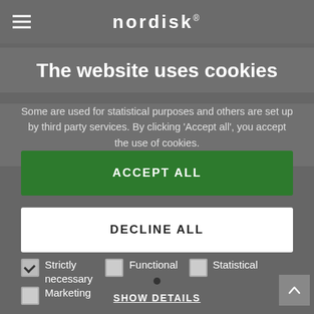nordisk®
The website uses cookies
Some are used for statistical purposes and others are set up by third party services. By clicking 'Accept all', you accept the use of cookies.
ACCEPT ALL
DECLINE ALL
Strictly necessary
Functional
Statistical
Marketing
SHOW DETAILS